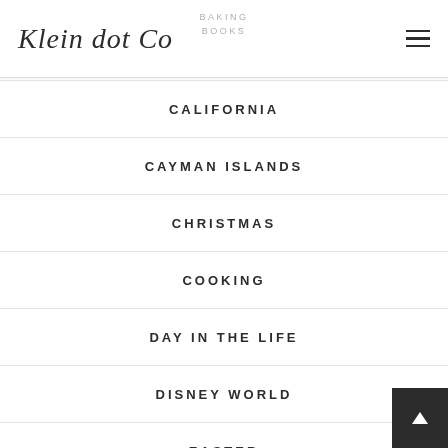Klein dot Co | BAKING | BOOKS
CALIFORNIA
CAYMAN ISLANDS
CHRISTMAS
COOKING
DAY IN THE LIFE
DISNEY WORLD
EASTER
FALL